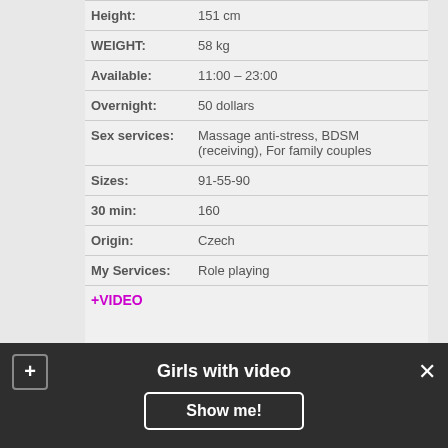| Field | Value |
| --- | --- |
| Height: | 151 cm |
| WEIGHT: | 58 kg |
| Available: | 11:00 – 23:00 |
| Overnight: | 50 dollars |
| Sex services: | Massage anti-stress, BDSM (receiving), For family couples |
| Sizes: | 91-55-90 |
| 30 min: | 160 |
| Origin: | Czech |
| My Services: | Role playing |
+ VIDEO
Girls with video
Show me!